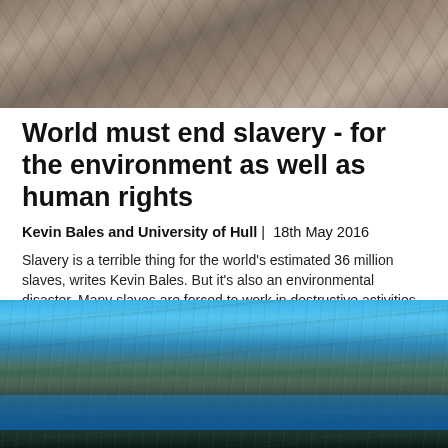[Figure (photo): Aerial or close-up photo of rocky/sandy terrain viewed from above, brown and grey tones]
World must end slavery - for the environment as well as human rights
Kevin Bales and University of Hull | 18th May 2016
Slavery is a terrible thing for the world's estimated 36 million slaves, writes Kevin Bales. But it's also an environmental disaster. Many slaves are forced to work in destructive activities like clearing forests for mines, farms and plantations - making slave labour the world's third biggest 'country' in terms of CO2 emissions. It really is time to end slavery!
[Figure (photo): Coastal cliff landscape with turquoise sea water and rocky cliffs under a bright blue sky]